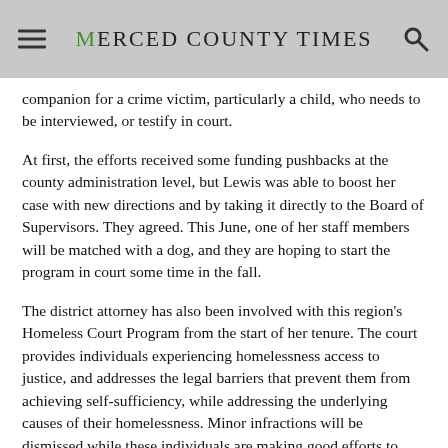Merced County Times
companion for a crime victim, particularly a child, who needs to be interviewed, or testify in court.
At first, the efforts received some funding pushbacks at the county administration level, but Lewis was able to boost her case with new directions and by taking it directly to the Board of Supervisors. They agreed. This June, one of her staff members will be matched with a dog, and they are hoping to start the program in court some time in the fall.
The district attorney has also been involved with this region's Homeless Court Program from the start of her tenure. The court provides individuals experiencing homelessness access to justice, and addresses the legal barriers that prevent them from achieving self-sufficiency, while addressing the underlying causes of their homelessness. Minor infractions will be dismissed while these individuals are making good efforts to progress and become stable within the community. Lewis said she would also like to see a mental health diversion program for